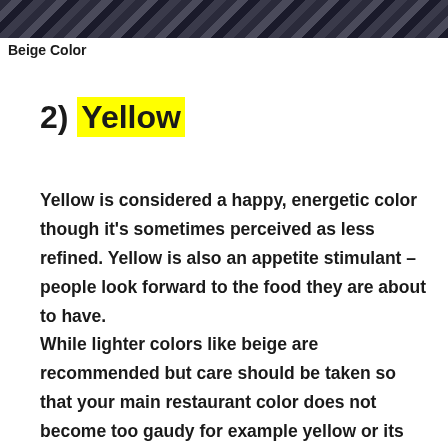[Figure (photo): Decorative pattern image strip at the top of the page, showing a dark geometric/woven textile pattern in navy and grey tones.]
Beige Color
2) Yellow
Yellow is considered a happy, energetic color though it's sometimes perceived as less refined. Yellow is also an appetite stimulant – people look forward to the food they are about to have.
While lighter colors like beige are recommended but care should be taken so that your main restaurant color does not become too gaudy for example yellow or its bright tones as the main color on every wall can make the restaurant an eye